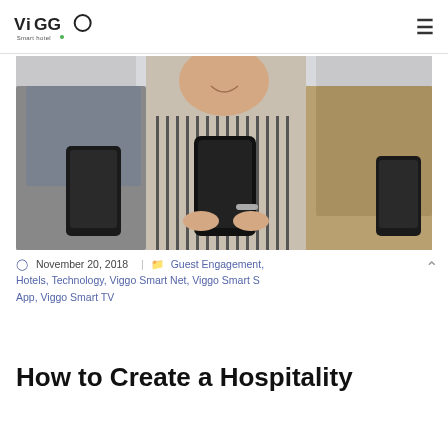VIGGO Smart hotel [logo] [hamburger menu]
[Figure (photo): Three people looking at their smartphones, center person wearing striped sleeveless top holding phone with both hands, with bracelet visible, flanked by two others also on phones]
November 20, 2018 | Guest Engagement, Hotels, Technology, Viggo Smart Net, Viggo Smart S App, Viggo Smart TV
How to Create a Hospitality